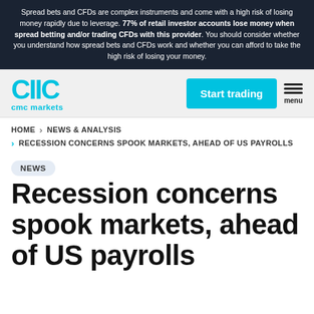Spread bets and CFDs are complex instruments and come with a high risk of losing money rapidly due to leverage. 77% of retail investor accounts lose money when spread betting and/or trading CFDs with this provider. You should consider whether you understand how spread bets and CFDs work and whether you can afford to take the high risk of losing your money.
[Figure (logo): CMC Markets logo with cyan/turquoise 'CIIC' lettering and 'cmc markets' text below]
Start trading | menu
HOME > NEWS & ANALYSIS
> RECESSION CONCERNS SPOOK MARKETS, AHEAD OF US PAYROLLS
NEWS
Recession concerns spook markets, ahead of US payrolls